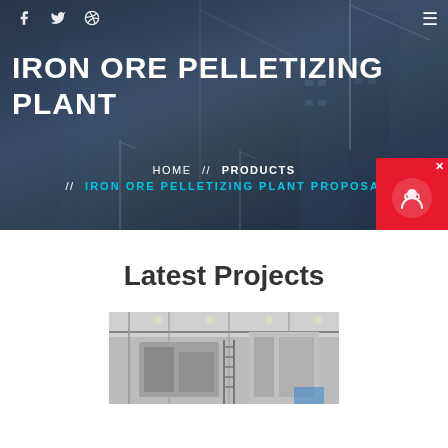[Figure (photo): Hero banner with construction site background — tall cranes and buildings against a dark blue-gray sky overlay]
IRON ORE PELLETIZING PLANT
HOME // PRODUCTS // IRON ORE PELLETIZING PLANT PROPOSAL
Latest Projects
[Figure (photo): Industrial plant interior or machinery — large metal structures and construction equipment]